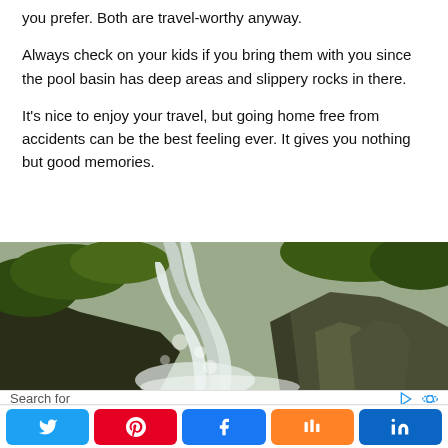you prefer. Both are travel-worthy anyway.
Always check on your kids if you bring them with you since the pool basin has deep areas and slippery rocks in there.
It's nice to enjoy your travel, but going home free from accidents can be the best feeling ever. It gives you nothing but good memories.
[Figure (photo): A waterfall rushing over dark rocks with lush green vegetation in the background, mist rising from the falls.]
Search for
Ambassador in Paradise